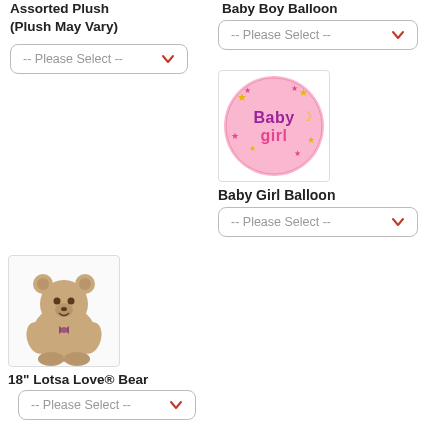Assorted Plush (Plush May Vary)
[Figure (other): Dropdown selector: -- Please Select --]
Baby Boy Balloon
[Figure (other): Dropdown selector: -- Please Select --]
[Figure (photo): Round Baby Girl balloon - pink with stars and moon, text reads Baby girl]
Baby Girl Balloon
[Figure (other): Dropdown selector: -- Please Select --]
[Figure (photo): 18 inch Lotsa Love Bear - tan stuffed teddy bear with bow tie]
18" Lotsa Love® Bear
[Figure (other): Dropdown selector: -- Please Select --]